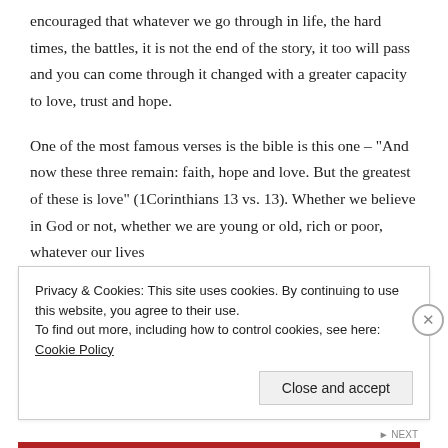encouraged that whatever we go through in life, the hard times, the battles, it is not the end of the story, it too will pass and you can come through it changed with a greater capacity to love, trust and hope.
One of the most famous verses is the bible is this one – "And now these three remain: faith, hope and love. But the greatest of these is love" (1Corinthians 13 vs. 13). Whether we believe in God or not, whether we are young or old, rich or poor, whatever our lives
Privacy & Cookies: This site uses cookies. By continuing to use this website, you agree to their use.
To find out more, including how to control cookies, see here: Cookie Policy
Close and accept